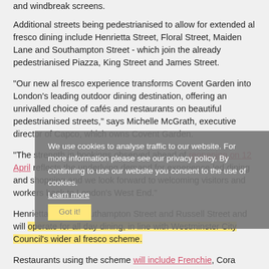and windbreak screens.
Additional streets being pedestrianised to allow for extended al fresco dining include Henrietta Street, Floral Street, Maiden Lane and Southampton Street - which join the already pedestrianised Piazza, King Street and James Street.
"Our new al fresco experience transforms Covent Garden into London's leading outdoor dining destination, offering an unrivalled choice of cafés and restaurants on beautiful pedestrianised streets," says Michelle McGrath, executive director of Capco, which owns Covent Garden.
"The strength in bookings observed ahead of reopening on 12 April reflects the underlying demand for experience-led dining and shopping and we look forward to welcoming visitors and workers back to London's West End."
Henrietta Street, Southampton Street and Russell Street and will operate for all day dining, in line with Westminster City Council's wider al fresco scheme.
Restaurants using the scheme will include Frenchie, Cora Pearl, The Oystermen, The Ivy Market Grill, SUSHISAMBA, Mariage
We use cookies to analyse traffic to our website. For more information please see our privacy policy. By continuing to use our website you consent to the use of cookies. Learn more  Got it!